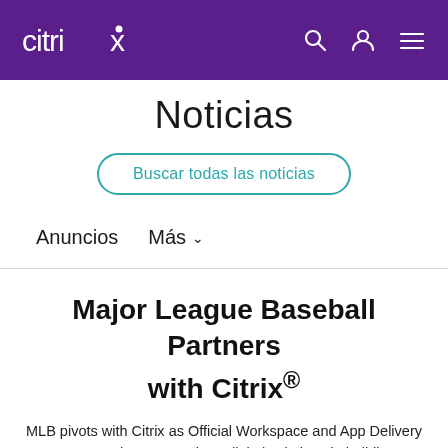citrix
Noticias
Buscar todas las noticias
Anuncios   Más
Major League Baseball Partners with Citrix®
MLB pivots with Citrix as Official Workspace and App Delivery Partner to leverage unique digital solutions in building league's future business operations
Tagged: